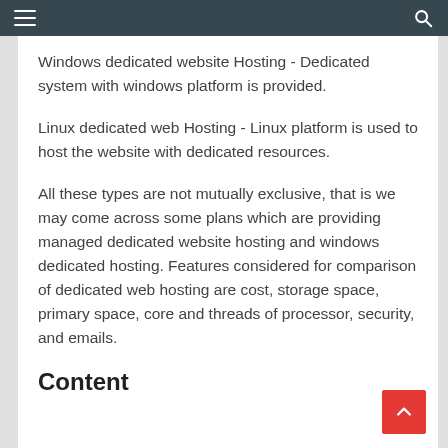Windows dedicated website Hosting - Dedicated system with windows platform is provided.
Linux dedicated web Hosting - Linux platform is used to host the website with dedicated resources.
All these types are not mutually exclusive, that is we may come across some plans which are providing managed dedicated website hosting and windows dedicated hosting. Features considered for comparison of dedicated web hosting are cost, storage space, primary space, core and threads of processor, security, and emails.
Content